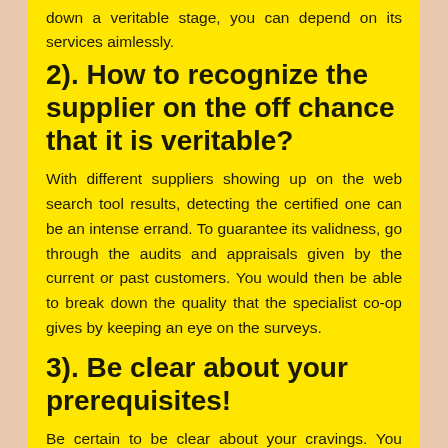down a veritable stage, you can depend on its services aimlessly.
2). How to recognize the supplier on the off chance that it is veritable?
With different suppliers showing up on the web search tool results, detecting the certified one can be an intense errand. To guarantee its validness, go through the audits and appraisals given by the current or past customers. You would then be able to break down the quality that the specialist co-op gives by keeping an eye on the surveys.
3). Be clear about your prerequisites!
Be certain to be clear about your cravings. You should specify every one of your prerequisites obviously to the specialist co-op for getting the best out of its services. Besides, this will help the escort specialist agency to make plans according to your desire, regardless of